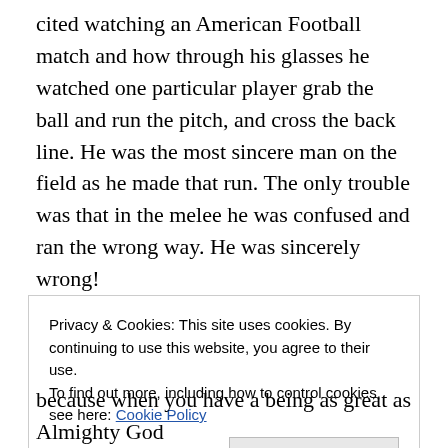cited watching an American Football match and how through his glasses he watched one particular player grab the ball and run the pitch, and cross the back line. He was the most sincere man on the field as he made that run. The only trouble was that in the melee he was confused and ran the wrong way. He was sincerely wrong!
Now Paul doesn't make it absolutely clear who he is talking about and so we have to assume he is speaking in generalities. This is what sinful mankind does. We didn't start out like this but "their thinking became futile". It was a
Privacy & Cookies: This site uses cookies. By continuing to use this website, you agree to their use.
To find out more, including how to control cookies, see here: Cookie Policy
Close and accept
because when you have a being as great as Almighty God